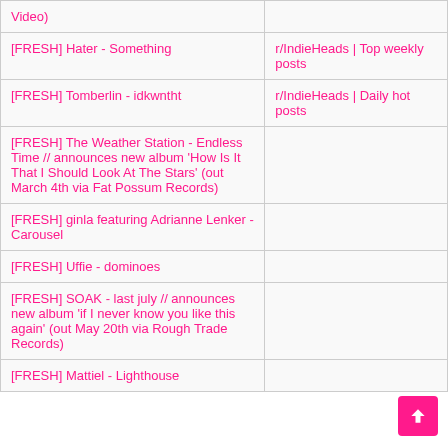| Post | Source |
| --- | --- |
| Video) |  |
| [FRESH] Hater - Something | r/IndieHeads | Top weekly posts |
| [FRESH] Tomberlin - idkwntht | r/IndieHeads | Daily hot posts |
| [FRESH] The Weather Station - Endless Time // announces new album 'How Is It That I Should Look At The Stars' (out March 4th via Fat Possum Records) |  |
| [FRESH] ginla featuring Adrianne Lenker - Carousel |  |
| [FRESH] Uffie - dominoes |  |
| [FRESH] SOAK - last july // announces new album 'if I never know you like this again' (out May 20th via Rough Trade Records) |  |
| [FRESH] Mattiel - Lighthouse |  |